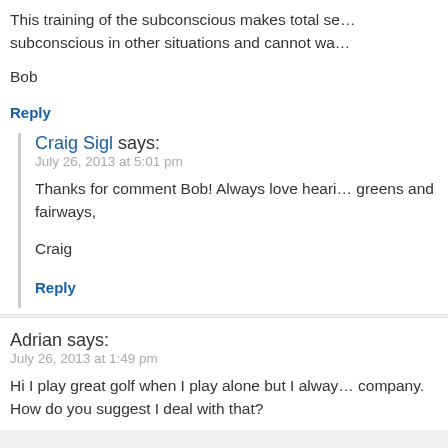This training of the subconscious makes total se… subconscious in other situations and cannot wa…
Bob
Reply
Craig Sigl says:
July 26, 2013 at 5:01 pm
Thanks for comment Bob! Always love heari… greens and fairways,
Craig
Reply
Adrian says:
July 26, 2013 at 1:49 pm
Hi I play great golf when I play alone but I alway… company. How do you suggest I deal with that?